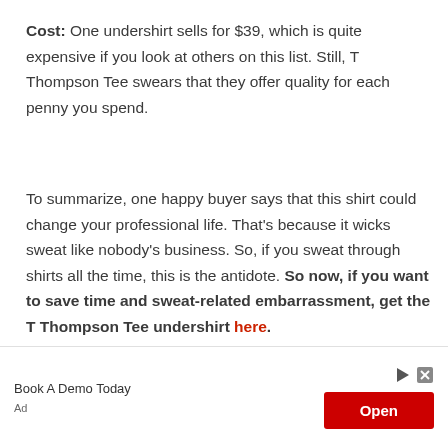Cost: One undershirt sells for $39, which is quite expensive if you look at others on this list. Still, T Thompson Tee swears that they offer quality for each penny you spend.
To summarize, one happy buyer says that this shirt could change your professional life. That's because it wicks sweat like nobody's business. So, if you sweat through shirts all the time, this is the antidote. So now, if you want to save time and sweat-related embarrassment, get the T Thompson Tee undershirt here.
[Figure (other): Advertisement banner with 'Book A Demo Today' text on the left, and a red 'Open' button on the right with play and close icons.]